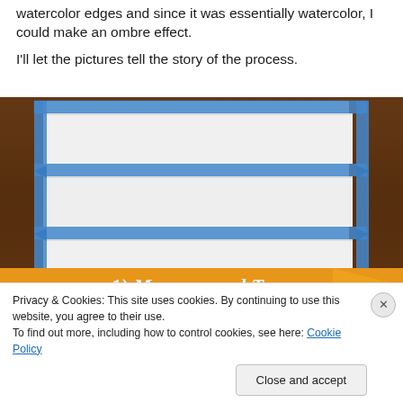watercolor edges and since it was essentially watercolor, I could make an ombre effect.
I'll let the pictures tell the story of the process.
[Figure (photo): Photo of white paper sheets taped to a dark wood table using blue painter's tape arranged in a grid pattern with horizontal and vertical tape strips]
1) Measure and Tape
Privacy & Cookies: This site uses cookies. By continuing to use this website, you agree to their use.
To find out more, including how to control cookies, see here: Cookie Policy
Close and accept